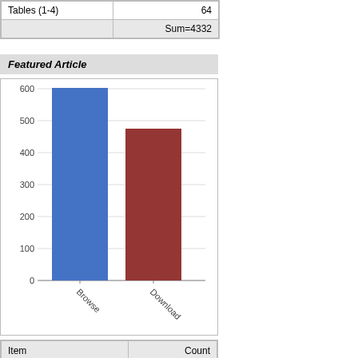|  |  |
| --- | --- |
| Tables (1-4) | 64 |
|  | Sum=4332 |
Featured Article
[Figure (bar-chart): ]
| Item | Count |
| --- | --- |
| Browse | 602 |
| Download | 475 |